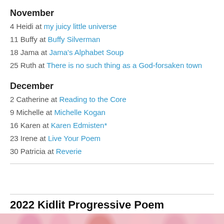November
4 Heidi at my juicy little universe
11 Buffy at Buffy Silverman
18 Jama at Jama's Alphabet Soup
25 Ruth at There is no such thing as a God-forsaken town
December
2 Catherine at Reading to the Core
9 Michelle at Michelle Kogan
16 Karen at Karen Edmisten*
23 Irene at Live Your Poem
30 Patricia at Reverie
2022 Kidlit Progressive Poem
[Figure (photo): Photo of pink flowers/roses, cropped at bottom of page]